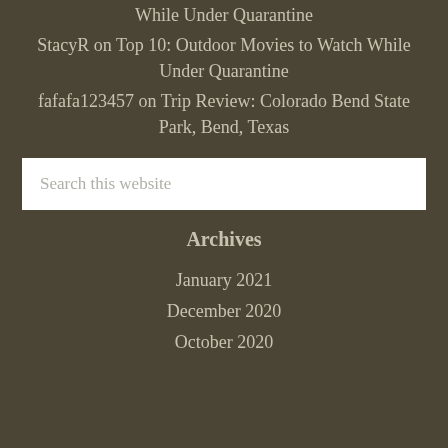While Under Quarantine
StacyR on Top 10: Outdoor Movies to Watch While Under Quarantine
fafafa123457 on Trip Review: Colorado Bend State Park, Bend, Texas
Search this website
Archives
January 2021
December 2020
October 2020